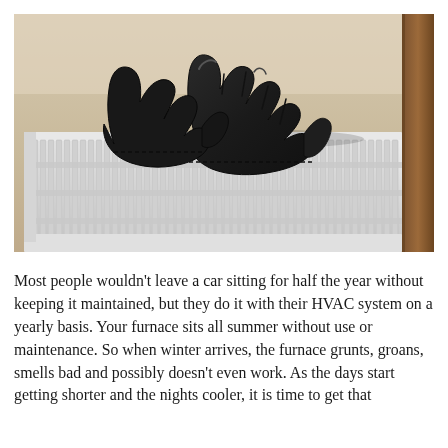[Figure (photo): Black leather gloves resting on top of a white metal radiator heater, with a beige wall in the background and wooden furniture visible on the right side.]
Most people wouldn't leave a car sitting for half the year without keeping it maintained, but they do it with their HVAC system on a yearly basis. Your furnace sits all summer without use or maintenance. So when winter arrives, the furnace grunts, groans, smells bad and possibly doesn't even work. As the days start getting shorter and the nights cooler, it is time to get that